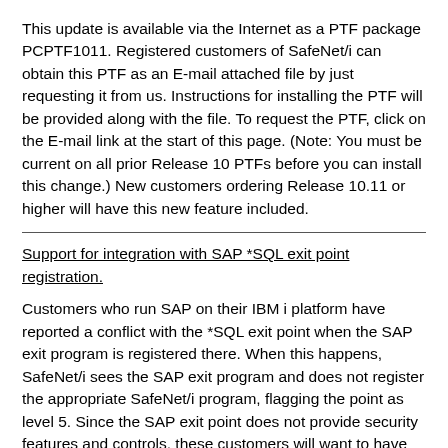This update is available via the Internet as a PTF package PCPTF1011. Registered customers of SafeNet/i can obtain this PTF as an E-mail attached file by just requesting it from us. Instructions for installing the PTF will be provided along with the file. To request the PTF, click on the E-mail link at the start of this page. (Note: You must be current on all prior Release 10 PTFs before you can install this change.) New customers ordering Release 10.11 or higher will have this new feature included.
Support for integration with SAP *SQL exit point registration.
Customers who run SAP on their IBM i platform have reported a conflict with the *SQL exit point when the SAP exit program is registered there. When this happens, SafeNet/i sees the SAP exit program and does not register the appropriate SafeNet/i program, flagging the point as level 5. Since the SAP exit point does not provide security features and controls, these customers will want to have SafeNet/i work when the SAP exit program is registered.
SafeNet/i has been upgrade to accomodate this change. Detailed instructions are now included telling our SAP customers how to configure this to use both the SAP exit program and the SafeNet/i